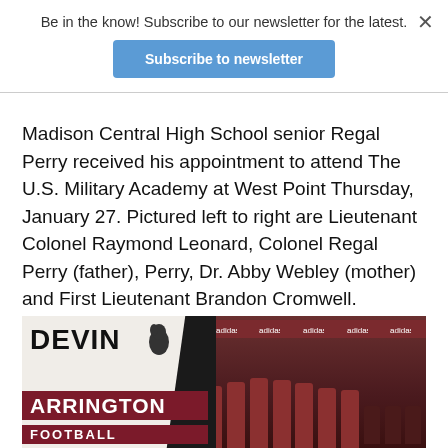×
Be in the know! Subscribe to our newsletter for the latest.
Subscribe to newsletter
Madison Central High School senior Regal Perry received his appointment to attend The U.S. Military Academy at West Point Thursday, January 27. Pictured left to right are Lieutenant Colonel Raymond Leonard, Colonel Regal Perry (father), Perry, Dr. Abby Webley (mother) and First Lieutenant Brandon Cromwell.
[Figure (photo): Composite image showing 'DEVIN ARRINGTON FOOTBALL' graphic on left with a horse logo, and a team photo on right showing people in red shirts seated and standing in front of an Adidas-branded backdrop]